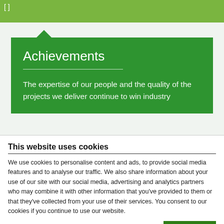[Figure (screenshot): Top olive-green navigation bar with bracket icon]
Achievements
The expertise of our people and the quality of the projects we deliver continue to win industry
This website uses cookies
We use cookies to personalise content and ads, to provide social media features and to analyse our traffic. We also share information about your use of our site with our social media, advertising and analytics partners who may combine it with other information that you've provided to them or that they've collected from your use of their services. You consent to our cookies if you continue to use our website.
OK
Necessary  Preferences  Statistics  Marketing  Show details